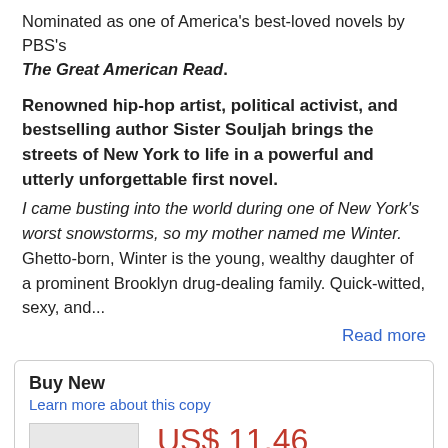Nominated as one of America's best-loved novels by PBS's The Great American Read.
Renowned hip-hop artist, political activist, and bestselling author Sister Souljah brings the streets of New York to life in a powerful and utterly unforgettable first novel. I came busting into the world during one of New York's worst snowstorms, so my mother named me Winter. Ghetto-born, Winter is the young, wealthy daughter of a prominent Brooklyn drug-dealing family. Quick-witted, sexy, and...
Read more
Buy New
Learn more about this copy
US$ 11.46
Convert currency
Shipping: FREE
Within U.S.A.
Destination, rates & speeds